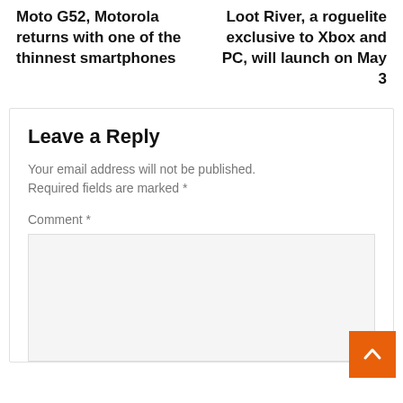Moto G52, Motorola returns with one of the thinnest smartphones
Loot River, a roguelite exclusive to Xbox and PC, will launch on May 3
Leave a Reply
Your email address will not be published.
Required fields are marked *
Comment *